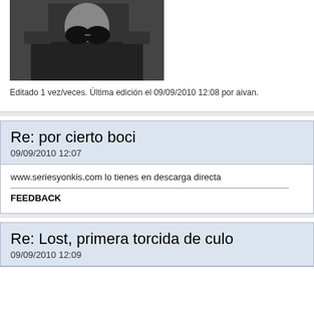[Figure (photo): Partial photo of a person in dark clothing and large round sunglasses, cropped at top]
Editado 1 vez/veces. Última edición el 09/09/2010 12:08 por aivan.
Re: por cierto boci
09/09/2010 12:07
www.seriesyonkis.com lo tienes en descarga directa

------------------------------------------------------------------------------------
FEEDBACK
Re: Lost, primera torcida de culo
09/09/2010 12:09